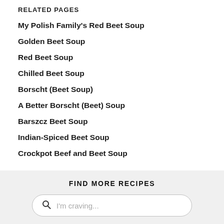RELATED PAGES
My Polish Family's Red Beet Soup
Golden Beet Soup
Red Beet Soup
Chilled Beet Soup
Borscht (Beet Soup)
A Better Borscht (Beet) Soup
Barszcz Beet Soup
Indian-Spiced Beet Soup
Crockpot Beef and Beet Soup
FIND MORE RECIPES
I'm craving...